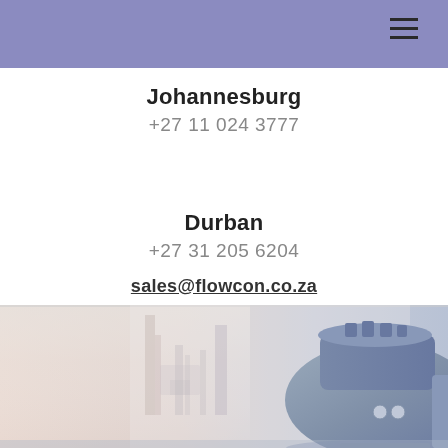Johannesburg
+27 11 024 3777
Durban
+27 31 205 6204
sales@flowcon.co.za
[Figure (photo): Industrial equipment photo showing large pressure vessel/tank and industrial structures with misty/foggy background in blue-grey tones]